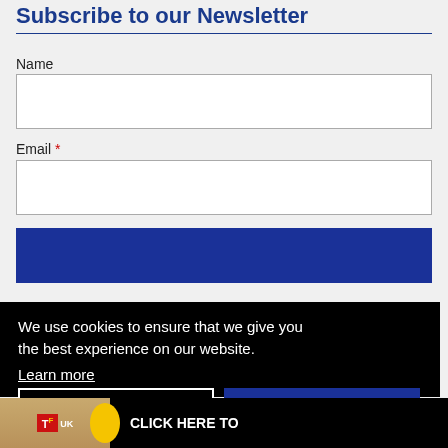Subscribe to our Newsletter
Name
Email *
We use cookies to ensure that we give you the best experience on our website. Learn more
No thanks
OK
CLICK HERE TO